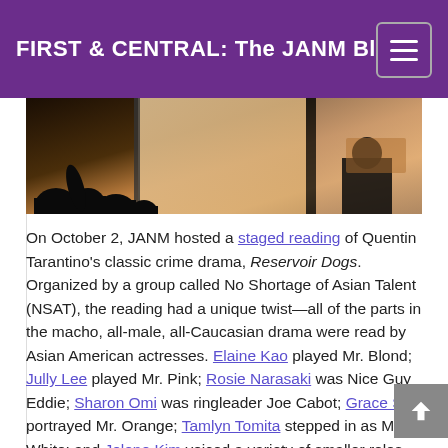FIRST & CENTRAL: The JANM Blog
[Figure (photo): Audience silhouettes watching a performance on screen in a darkened room, with film/projection equipment visible]
On October 2, JANM hosted a staged reading of Quentin Tarantino's classic crime drama, Reservoir Dogs. Organized by a group called No Shortage of Asian Talent (NSAT), the reading had a unique twist—all of the parts in the macho, all-male, all-Caucasian drama were read by Asian American actresses. Elaine Kao played Mr. Blond; Jully Lee played Mr. Pink; Rosie Narasaki was Nice Guy Eddie; Sharon Omi was ringleader Joe Cabot; Grace Su portrayed Mr. Orange; Tamlyn Tomita stepped in as Mr. White; and Jolene Kim voiced a variety of smaller roles, including the cop in the iconic ear-slicing scene.